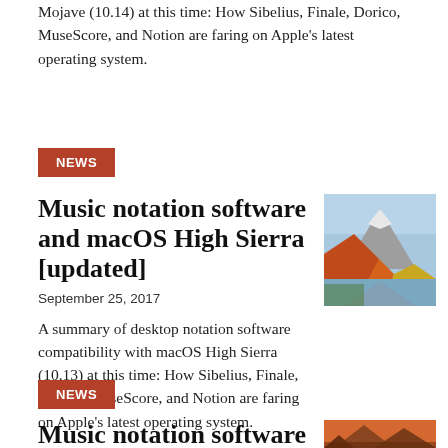Mojave (10.14) at this time: How Sibelius, Finale, Dorico, MuseScore, and Notion are faring on Apple's latest operating system.
NEWS
Music notation software and macOS High Sierra [updated]
September 25, 2017
[Figure (photo): Autumn mountain landscape with snow-capped peak, colorful foliage, and lake reflection — macOS High Sierra wallpaper]
A summary of desktop notation software compatibility with macOS High Sierra (10.13) at this time: How Sibelius, Finale, Dorico, MuseScore, and Notion are faring on Apple's latest operating system.
NEWS
Music notation software and macOS Sierra (updated)
[Figure (photo): Sunset view of rocky mountain peaks — macOS Sierra wallpaper]